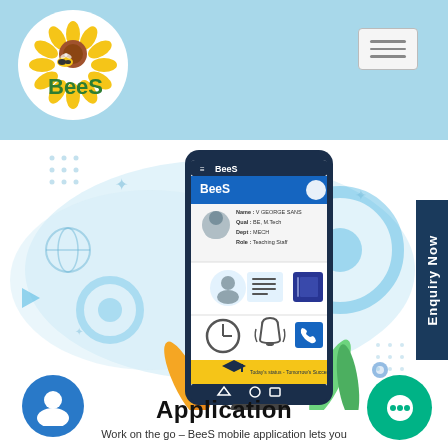[Figure (logo): BeeS logo: circular logo with a sunflower and bee, green text BeeS below]
[Figure (screenshot): BeeS mobile application screenshot showing a smartphone with BeeS app UI: profile card with Name: V GEORGE SANS, Qual: BE M.Tech, Dept: MECH, Role: Teaching Staff, and app icon grid including person, list, book, clock, bell, phone icons, and a graduation cap banner. Surrounded by blue gear graphics, decorative leaves, and a light blue cloud shape.]
Application
Work on the go – BeeS mobile application lets you